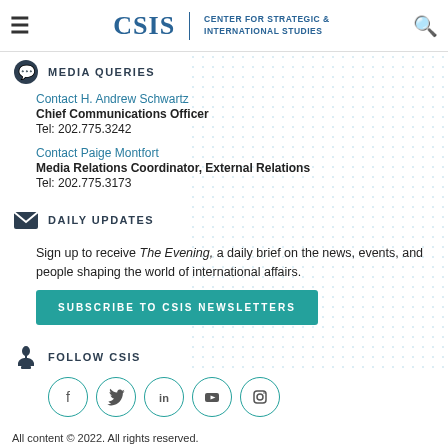CSIS | CENTER FOR STRATEGIC & INTERNATIONAL STUDIES
MEDIA QUERIES
Contact H. Andrew Schwartz
Chief Communications Officer
Tel: 202.775.3242
Contact Paige Montfort
Media Relations Coordinator, External Relations
Tel: 202.775.3173
DAILY UPDATES
Sign up to receive The Evening, a daily brief on the news, events, and people shaping the world of international affairs.
SUBSCRIBE TO CSIS NEWSLETTERS
FOLLOW CSIS
[Figure (illustration): Social media icons: Facebook, Twitter, LinkedIn, YouTube, Instagram — each in a teal circle outline]
All content © 2022. All rights reserved.